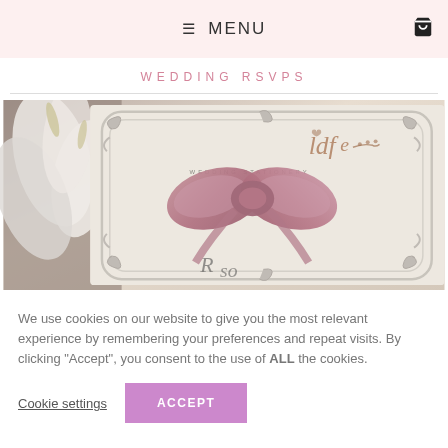≡ MENU
WEDDING RSVPS
[Figure (photo): Wedding stationery product photo showing an elegant invitation card with ornate silver/grey scrollwork frame, a satin mauve/dusty rose bow, white calla lilies on the left, and a script logo reading 'ldfe WEDDING STATIONERY' in the upper right area. Cream/champagne background with script text partially visible.]
We use cookies on our website to give you the most relevant experience by remembering your preferences and repeat visits. By clicking "Accept", you consent to the use of ALL the cookies.
Cookie settings
ACCEPT